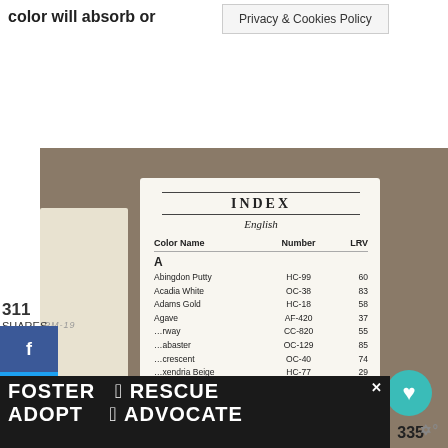color will absorb or
Privacy & Cookies Policy
[Figure (photo): Photo of Benjamin Moore paint color index booklet showing an alphabetical index with color names, numbers, and LRV values, alongside paint chip cards labeled PM-19 and PM-20, on a wooden surface. The index shows entries starting with 'A' including Abingdon Putty HC-99 60, Acadia White OC-38 83, Adams Gold HC-18 58, Agave AF-420 37, and others.]
311
SHARES
335
WHAT'S NEXT →
Sherwin Williams...
FOSTER   RESCUE
ADOPT    ADVOCATE